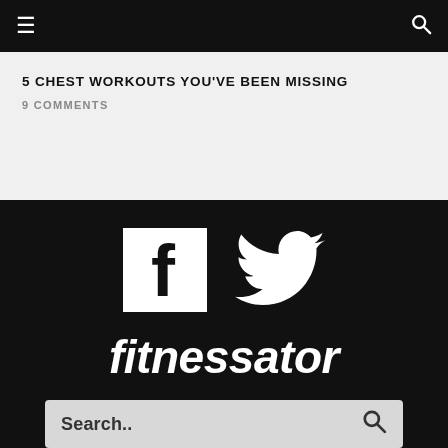≡  🔍
5 CHEST WORKOUTS YOU'VE BEEN MISSING
9 COMMENTS
[Figure (logo): Facebook icon (white F on dark background) and Twitter bird icon (white) side by side]
[Figure (logo): Fitnessator logo in white bold italic text on dark background]
[Figure (screenshot): Search bar with placeholder text 'Search..' and a search icon on the right]